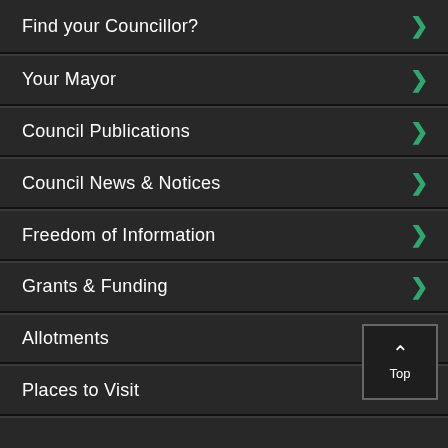Find your Councillor?
Your Mayor
Council Publications
Council News & Notices
Freedom of Information
Grants & Funding
Allotments
Places to Visit